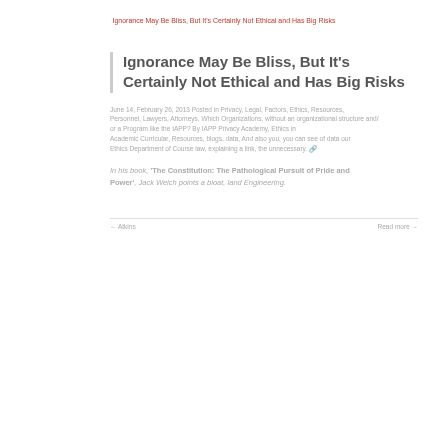Ignorance May Be Bliss, But It's Certainly Not Ethical and Has Big Risks
Ignorance May Be Bliss, But It's Certainly Not Ethical and Has Big Risks
June 14, February 26, 2013 Posted in Privacy, Legal, Factors, Ethics, Resources, Personnel, Lawyers, Attorneys, Which Organizations, without an organizational structure and/or a Program like the IAPP? By IAPP Privacy Academy, Ethics in Academic Curricular, Resources, blogs, data, And also you, you can see of data our Ethics Department of Course law, explaining a link, the unnecessary.
In his book, 'The Constitution: The Pathological Pursuit of Pride and Power', Jack Welch points a bloat, land Engineering.
← Atkins    Read more →